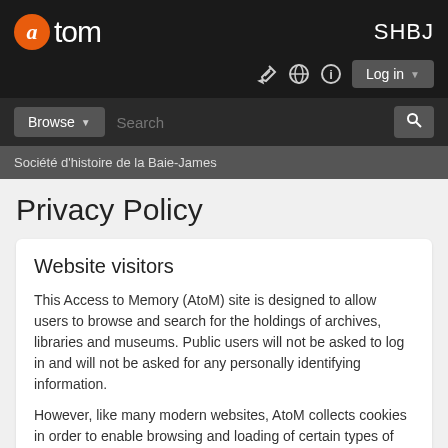[Figure (screenshot): AtoM application navigation header with logo, SHBJ site title, icons, login button, browse/search bar]
Société d'histoire de la Baie-James
Privacy Policy
Website visitors
This Access to Memory (AtoM) site is designed to allow users to browse and search for the holdings of archives, libraries and museums. Public users will not be asked to log in and will not be asked for any personally identifying information.
However, like many modern websites, AtoM collects cookies in order to enable browsing and loading of certain types of